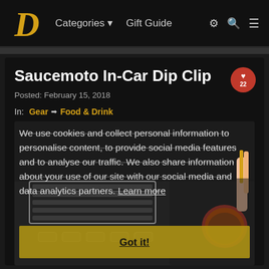Priceplow — Categories ▼   Gift Guide
Saucemoto In-Car Dip Clip
Posted: February 15, 2018
In: Gear ➡ Food & Drink
[Figure (screenshot): A cookie consent overlay on top of a photo of a car air vent holding a dip sauce cup, with text reading: 'We use cookies and collect personal information to personalise content, to provide social media features and to analyse our traffic. We also share information about your use of our site with our social media and data analytics partners. Learn more' and a 'Got it!' button.]
22